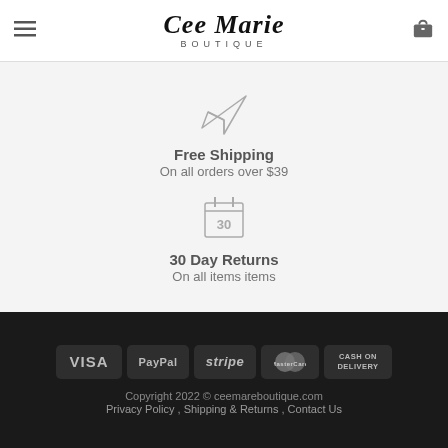Cee Marie Boutique
[Figure (illustration): Paper airplane icon (send/shipping symbol)]
Free Shipping
On all orders over $39
[Figure (illustration): Calendar icon showing number 30]
30 Day Returns
On all items items
[Figure (infographic): Payment method badges: VISA, PayPal, stripe, MasterCard, CASH ON DELIVERY]
Copyright 2022 © ceemareboutique.com
Privacy Policy , Shipping & Returns , Contact Us